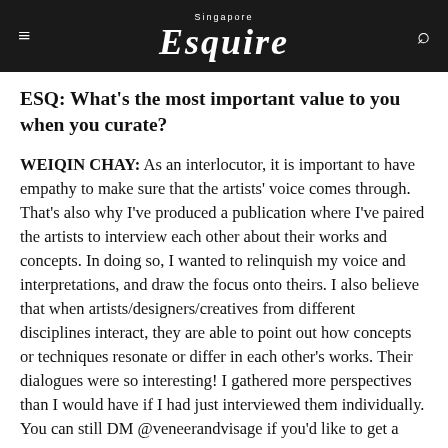Singapore Esquire
ESQ: What's the most important value to you when you curate?
WEIQIN CHAY: As an interlocutor, it is important to have empathy to make sure that the artists' voice comes through. That's also why I've produced a publication where I've paired the artists to interview each other about their works and concepts. In doing so, I wanted to relinquish my voice and interpretations, and draw the focus onto theirs. I also believe that when artists/designers/creatives from different disciplines interact, they are able to point out how concepts or techniques resonate or differ in each other's works. Their dialogues were so interesting! I gathered more perspectives than I would have if I had just interviewed them individually. You can still DM @veneerandvisage if you'd like to get a copy.
Back to the point about empathy, I actually spent quite a bit